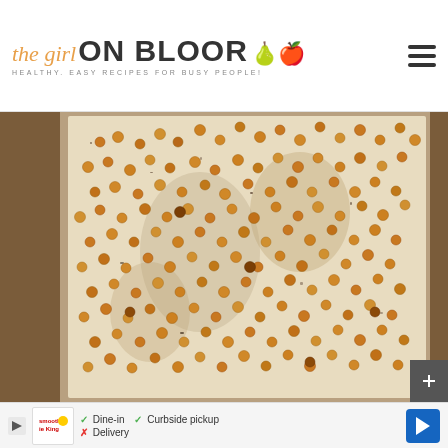the girl ON BLOOR - HEALTHY, EASY RECIPES FOR BUSY PEOPLE!
[Figure (photo): Overhead photo of roasted chickpeas spread on a parchment-lined baking sheet, seasoned with spices, on a wooden surface]
Dine-in  Curbside pickup  Delivery